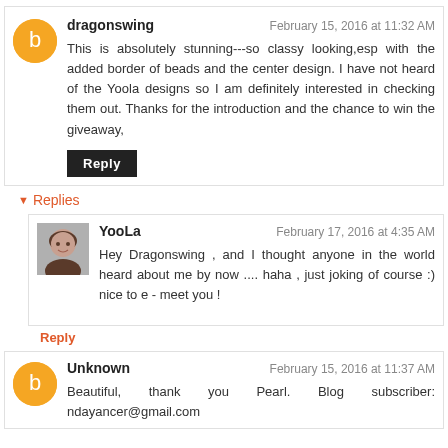dragonswing — February 15, 2016 at 11:32 AM
This is absolutely stunning---so classy looking,esp with the added border of beads and the center design. I have not heard of the Yoola designs so I am definitely interested in checking them out. Thanks for the introduction and the chance to win the giveaway,
Reply
Replies
YooLa — February 17, 2016 at 4:35 AM
Hey Dragonswing , and I thought anyone in the world heard about me by now .... haha , just joking of course :) nice to e - meet you !
Reply
Unknown — February 15, 2016 at 11:37 AM
Beautiful, thank you Pearl. Blog subscriber: ndayancer@gmail.com